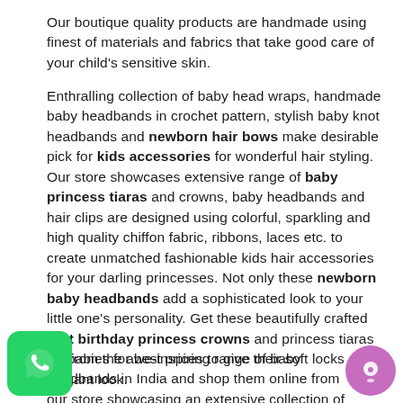Our boutique quality products are handmade using finest of materials and fabrics that take good care of your child's sensitive skin.
Enthralling collection of baby head wraps, handmade baby headbands in crochet pattern, stylish baby knot headbands and newborn hair bows make desirable pick for kids accessories for wonderful hair styling. Our store showcases extensive range of baby princess tiaras and crowns, baby headbands and hair clips are designed using colorful, sparkling and high quality chiffon fabric, ribbons, laces etc. to create unmatched fashionable kids hair accessories for your darling princesses. Not only these newborn baby headbands add a sophisticated look to your little one's personality. Get these beautifully crafted first birthday princess crowns and princess tiaras for babies for best prices to give their soft locks an elegant look.
…ect from the awe-inspiring range of baby …adbands in India and shop them online from our …tore showcasing an extensive collection of these…